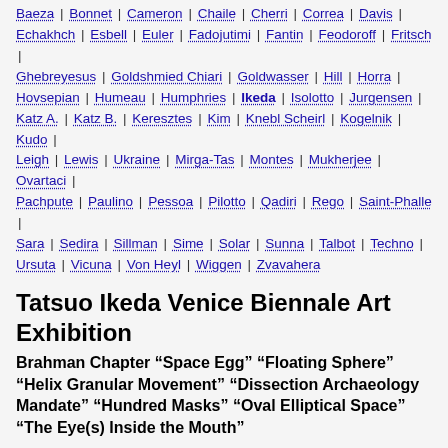Baeza | Bonnet | Cameron | Chaile | Cherri | Correa | Davis | Echakhch | Esbell | Euler | Fadojutimi | Fantin | Feodoroff | Fritsch | Ghebreyesus | Goldshmied Chiari | Goldwasser | Hill | Horra | Hovsepian | Humeau | Humphries | Ikeda | Isolotto | Jurgensen | Katz A. | Katz B. | Keresztes | Kim | Knebl Scheirl | Kogelnik | Kudo | Leigh | Lewis | Ukraine | Mirga-Tas | Montes | Mukherjee | Ovartaci | Pachpute | Paulino | Pessoa | Pilotto | Qadiri | Rego | Saint-Phalle | Sara | Sedira | Sillman | Sime | Solar | Sunna | Talbot | Techno | Ursuta | Vicuna | Von Heyl | Wiggen | Zvavahera
Tatsuo Ikeda Venice Biennale Art Exhibition
Brahman Chapter “Space Egg” “Floating Sphere” “Helix Granular Movement” “Dissection Archaeology Mandate” “Hundred Masks” “Oval Elliptical Space” “The Eye(s) Inside the Mouth”